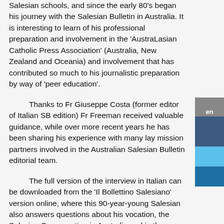Salesian schools, and since the early 80's began his journey with the Salesian Bulletin in Australia. It is interesting to learn of his professional preparation and involvement in the 'AustraLasian Catholic Press Association' (Australia, New Zealand and Oceania) and involvement that has contributed so much to his journalistic preparation by way of 'peer education'.
Thanks to Fr Giuseppe Costa (former editor of Italian SB edition) Fr Freeman received valuable guidance, while over more recent years he has been sharing his experience with many lay mission partners involved in the Australian Salesian Bulletin editorial team.
The full version of the interview in Italian can be downloaded from the 'Il Bollettino Salesiano' version online, where this 90-year-young Salesian also answers questions about his vocation, the Salesian Congregation in Australia and in the Pacific and about his view of Australian youth.